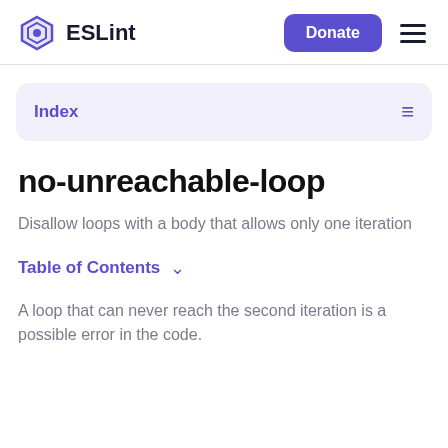ESLint | Donate
Index
no-unreachable-loop
Disallow loops with a body that allows only one iteration
Table of Contents
A loop that can never reach the second iteration is a possible error in the code.